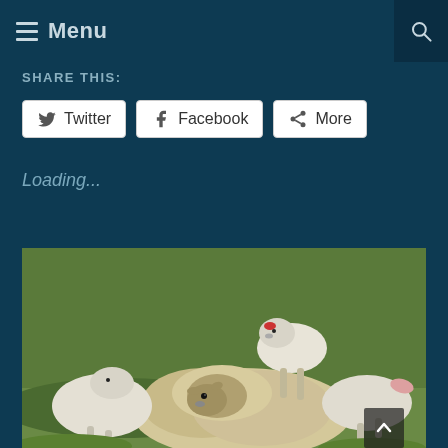Menu
SHARE THIS:
Twitter  Facebook  More
Loading...
[Figure (photo): A ewe (adult sheep) lying on green grass with several white lambs climbing on and around her. One lamb stands on the ewe's back, another is visible to the left, and a third is on the right side. The scene is an outdoor pastoral field setting.]